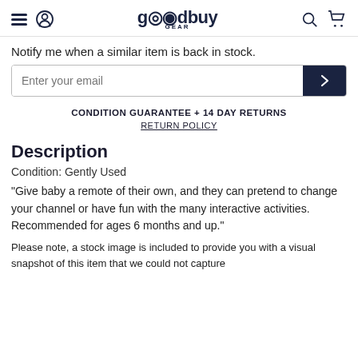goodbuy GEAR
Notify me when a similar item is back in stock.
Enter your email
CONDITION GUARANTEE + 14 DAY RETURNS
RETURN POLICY
Description
Condition: Gently Used
"Give baby a remote of their own, and they can pretend to change your channel or have fun with the many interactive activities. Recommended for ages 6 months and up."
Please note, a stock image is included to provide you with a visual snapshot of this item that we could not capture with our pictures. The actual item may look different based on